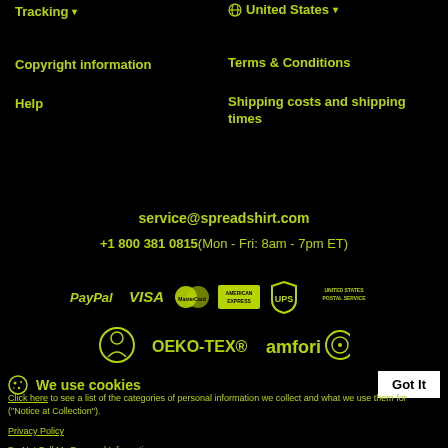Tracking ▾
🌐 United States ▾
Copyright information
Terms & Conditions
Help
Shipping costs and shipping times
service@spreadshirt.com
+1 800 381 0815(Mon - Fri: 8am - 7pm ET)
[Figure (logo): Payment and shipping logos: PayPal, VISA, MasterCard, American Express, UPS, United States Postal Service]
[Figure (logo): Certification logos: Fairtrade-style circle logo, OEKO-TEX®, amfori circle logo]
We use cookies
Got It
Click here to see a list of the categories of personal information we collect and what we use them for ("Notice at Collection").
Privacy Policy
Do Not Sell My Personal Information
By using this website, I agree to the Terms and Conditions